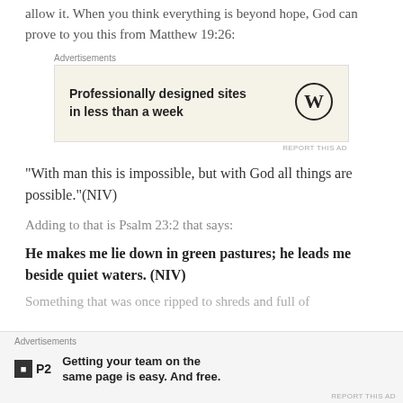allow it. When you think everything is beyond hope, God can prove to you this from Matthew 19:26:
[Figure (other): Advertisement banner: 'Professionally designed sites in less than a week' with WordPress logo]
“With man this is impossible, but with God all things are possible.”(NIV)
Adding to that is Psalm 23:2 that says:
He makes me lie down in green pastures; he leads me beside quiet waters. (NIV)
Something that was once ripped to shreds and full of
[Figure (other): Bottom advertisement bar: P2 logo - 'Getting your team on the same page is easy. And free.']